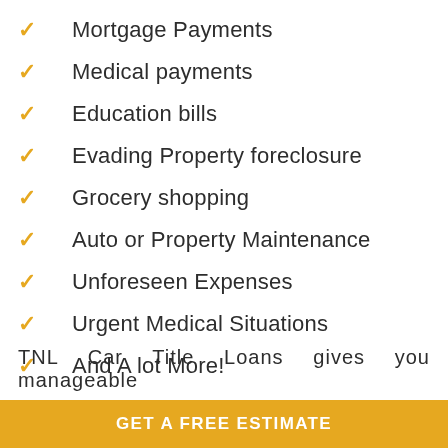Mortgage Payments
Medical payments
Education bills
Evading Property foreclosure
Grocery shopping
Auto or Property Maintenance
Unforeseen Expenses
Urgent Medical Situations
And A lot More!
TNL Car Title Loans gives you manageable
GET A FREE ESTIMATE